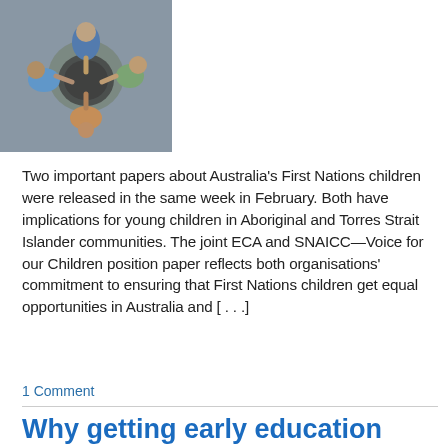[Figure (photo): Aerial view of children gathered around a bowl or basin, hands reaching in, outdoor setting]
Two important papers about Australia's First Nations children were released in the same week in February. Both have implications for young children in Aboriginal and Torres Strait Islander communities. The joint ECA and SNAICC—Voice for our Children position paper reflects both organisations' commitment to ensuring that First Nations children get equal opportunities in Australia and [...]
1 Comment
Why getting early education right is so critical for children & our future
Posted on February 12, 2019 by Christine Legg
[Figure (photo): Partial bottom image, warm orange/yellow tones, appears to be children or early education setting]